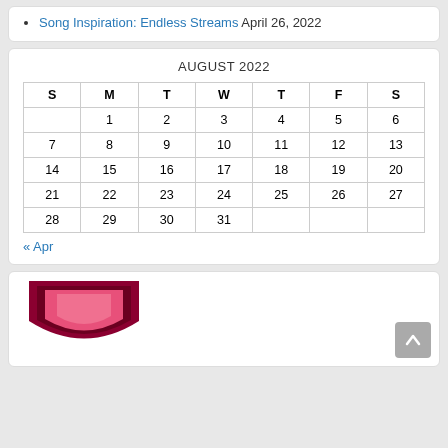Song Inspiration: Endless Streams April 26, 2022
| S | M | T | W | T | F | S |
| --- | --- | --- | --- | --- | --- | --- |
|  | 1 | 2 | 3 | 4 | 5 | 6 |
| 7 | 8 | 9 | 10 | 11 | 12 | 13 |
| 14 | 15 | 16 | 17 | 18 | 19 | 20 |
| 21 | 22 | 23 | 24 | 25 | 26 | 27 |
| 28 | 29 | 30 | 31 |  |  |  |
« Apr
[Figure (logo): Pink and dark red shield/badge logo]